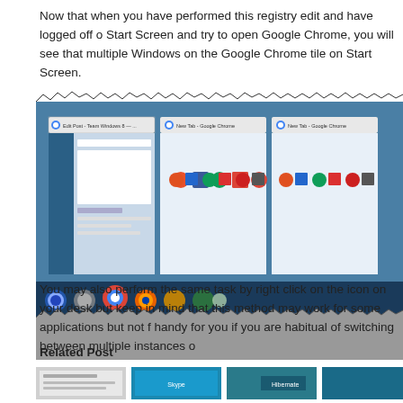Now that when you have performed this registry edit and have logged off or Start Screen and try to open Google Chrome, you will see that multiple Windows on the Google Chrome tile on Start Screen.
[Figure (screenshot): Screenshot showing multiple Google Chrome windows open in Windows 8 taskbar switcher, with browser windows showing new tab pages and a WordPress post editor. The taskbar at bottom shows browser icons including Chrome, Firefox, and others.]
You may also perform the same task by right click on the icon on your desk but keep in mind that this method may work for some applications but not f handy for you if you are habitual of switching between multiple instances o
Related Post
[Figure (screenshot): Three related post thumbnail images at the bottom of the page.]